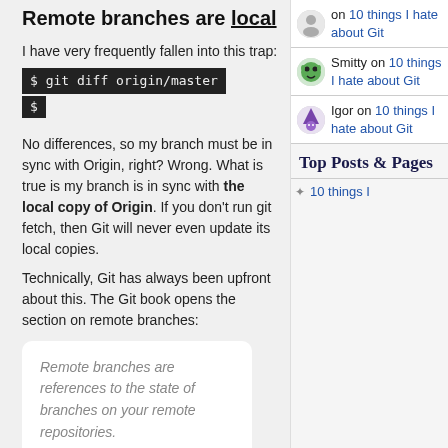Remote branches are local
I have very frequently fallen into this trap:
No differences, so my branch must be in sync with Origin, right? Wrong. What is true is my branch is in sync with the local copy of Origin. If you don't run git fetch, then Git will never even update its local copies.
Technically, Git has always been upfront about this. The Git book opens the section on remote branches:
Remote branches are references to the state of branches on your remote repositories.
on 10 things I hate about Git
Smitty on 10 things I hate about Git
Igor on 10 things I hate about Git
Top Posts & Pages
10 things I